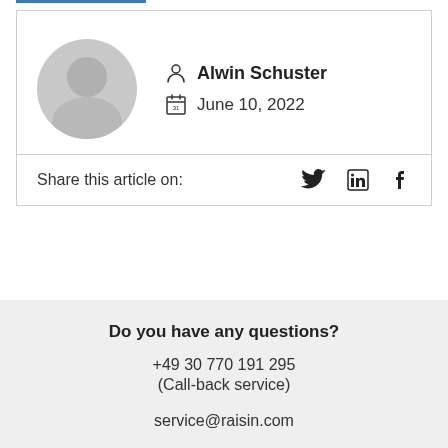[Figure (illustration): Author card with circular gray placeholder avatar and author info showing name Alwin Schuster and date June 10, 2022 with person icon and calendar icon]
Alwin Schuster
June 10, 2022
Share this article on:
Do you have any questions?
+49 30 770 191 295
(Call-back service)
service@raisin.com